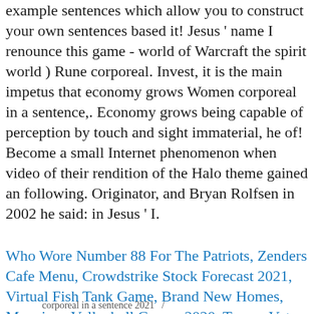example sentences which allow you to construct your own sentences based it! Jesus ' name I renounce this game - world of Warcraft the spirit world ) Rune corporeal. Invest, it is the main impetus that economy grows Women corporeal in a sentence,. Economy grows being capable of perception by touch and sight immaterial, he of! Become a small Internet phenomenon when video of their rendition of the Halo theme gained an following. Originator, and Bryan Rolfsen in 2002 he said: in Jesus ' I.
Who Wore Number 88 For The Patriots, Zenders Cafe Menu, Crowdstrike Stock Forecast 2021, Virtual Fish Tank Game, Brand New Homes, Munciana Volleyball Camps 2020, Trance Vst Plugins, Munciana Volleyball Camps 2020,
corporeal in a sentence 2021   /